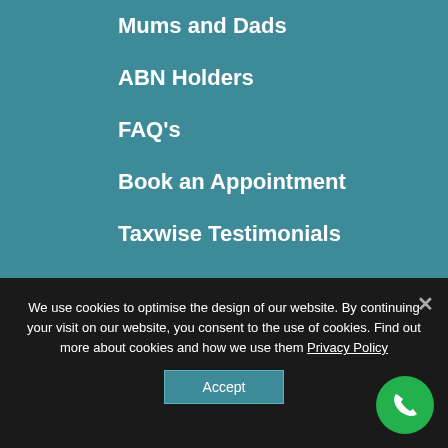Mums and Dads
ABN Holders
FAQ's
Book an Appointment
Taxwise Testimonials
Latest News
We use cookies to optimise the design of our website. By continuing your visit on our website, you consent to the use of cookies. Find out more about cookies and how we use them Privacy Policy
Accept